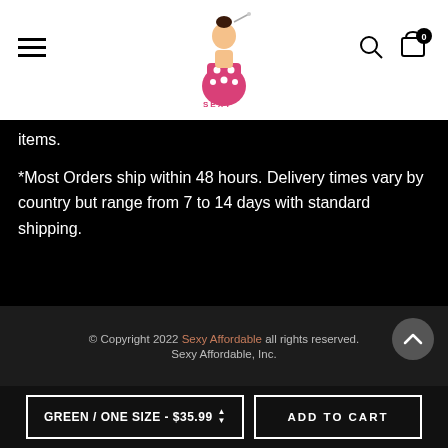[Figure (logo): Sexy Affordable brand logo — illustrated woman in polka-dot dress]
items.
*Most Orders ship within 48 hours. Delivery times vary by country but range from 7 to 14 days with standard shipping.
© Copyright 2022 Sexy Affordable all rights reserved. Sexy Affordable, Inc.
GREEN / ONE SIZE - $35.99
ADD TO CART